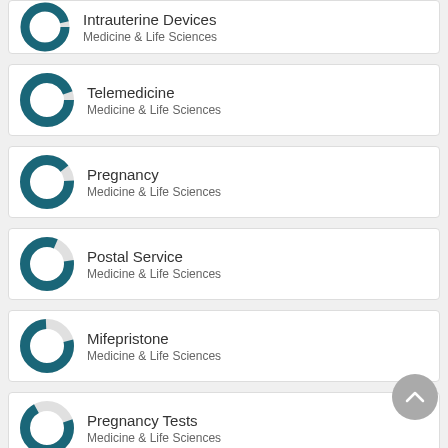Intrauterine Devices — Medicine & Life Sciences
Telemedicine — Medicine & Life Sciences
Pregnancy — Medicine & Life Sciences
Postal Service — Medicine & Life Sciences
Mifepristone — Medicine & Life Sciences
Pregnancy Tests — Medicine & Life Sciences
Gynecological Examination — Medicine & Life Sciences